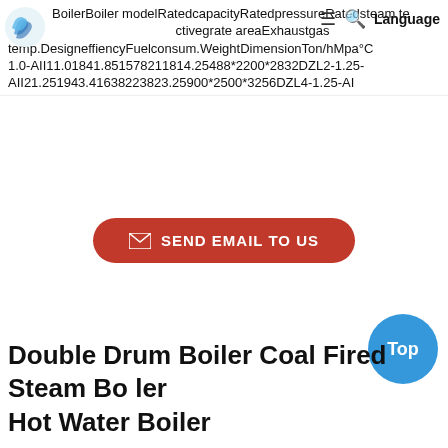BoilerBoiler modelRatedcapacityRatedpressureRatedsteam temperature Activegrate areaExhaustgas temp.DesigneffiencyFuelconsum.WeightDimensionTon/hMpa°C 1.0-AII11.01841.851578211814.25488*2200*2832DZL2-1.25-AII21.251943.41638223823.25900*2500*3256DZL4-1.25-AI
[Figure (logo): Blue swirl logo icon in top left]
SEND EMAIL TO US
[Figure (other): Blue circular 'Top' button in bottom right]
Double Drum Boiler Coal Fired Steam Boiler Hot Water Boiler